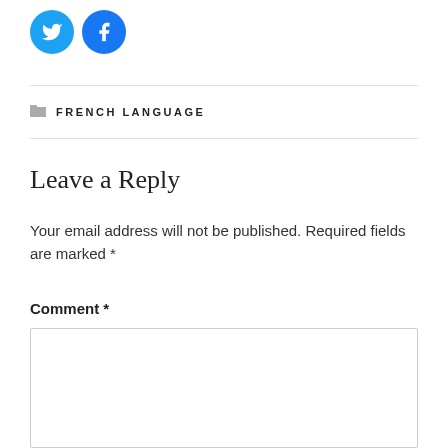[Figure (logo): Twitter and Facebook social share icon buttons (circular blue icons)]
FRENCH LANGUAGE
Leave a Reply
Your email address will not be published. Required fields are marked *
Comment *